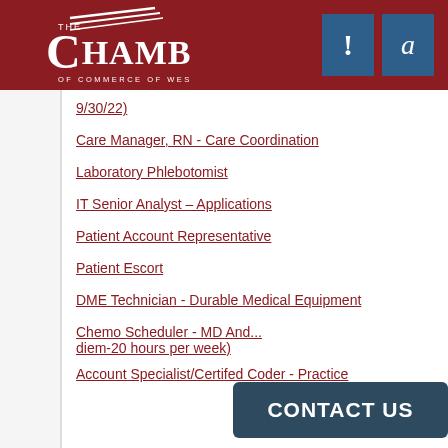[Figure (logo): The Chamber of Commerce of West Alabama logo with white text on dark red background, accompanied by two blue square icons with '!' and 'a' symbols]
9/30/22)
Care Manager, RN - Care Coordination
Laboratory Phlebotomist
IT Senior Analyst – Applications
Patient Account Representative
Patient Escort
DME Technician - Durable Medical Equipment
Chemo Scheduler - MD And... diem-20 hours per week)
Account Specialist/Certifed Coder - Practice